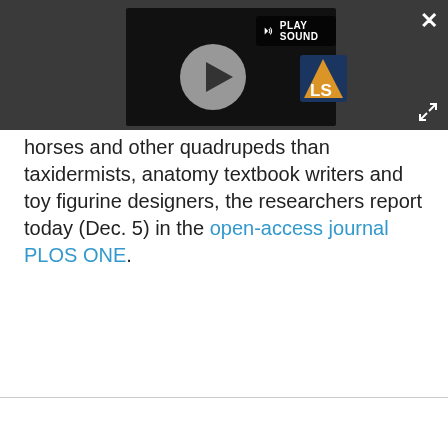[Figure (screenshot): A video player overlay on a dark gray background showing a play button circle in the center, a 'PLAY SOUND' label with a speaker icon in the top-left of the video area, and an LS logo badge in the bottom-right of the video. A close (X) button is in the top-right corner and an expand icon is in the lower-right corner of the overlay bar.]
horses and other quadrupeds than taxidermists, anatomy textbook writers and toy figurine designers, the researchers report today (Dec. 5) in the open-access journal PLOS ONE.